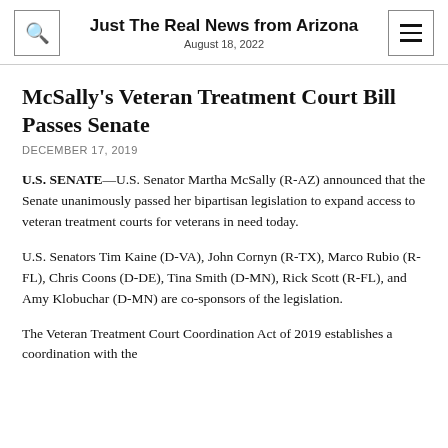Just The Real News from Arizona
August 18, 2022
McSally's Veteran Treatment Court Bill Passes Senate
DECEMBER 17, 2019
U.S. SENATE—U.S. Senator Martha McSally (R-AZ) announced that the Senate unanimously passed her bipartisan legislation to expand access to veteran treatment courts for veterans in need today.
U.S. Senators Tim Kaine (D-VA), John Cornyn (R-TX), Marco Rubio (R-FL), Chris Coons (D-DE), Tina Smith (D-MN), Rick Scott (R-FL), and Amy Klobuchar (D-MN) are co-sponsors of the legislation.
The Veteran Treatment Court Coordination Act of 2019 establishes a coordination with the…